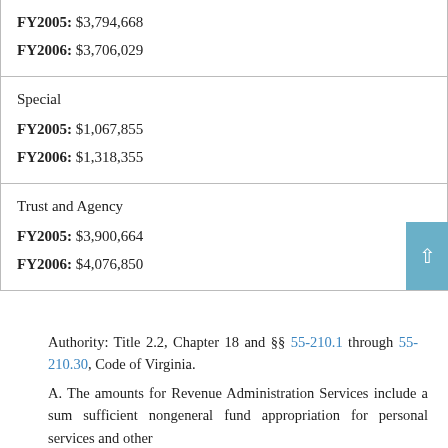| Fund Type | FY2005 | FY2006 |
| --- | --- | --- |
| (partial top row) | $3,794,668 | $3,706,029 |
| Special | $1,067,855 | $1,318,355 |
| Trust and Agency | $3,900,664 | $4,076,850 |
Authority: Title 2.2, Chapter 18 and §§ 55-210.1 through 55-210.30, Code of Virginia.
A. The amounts for Revenue Administration Services include a sum sufficient nongeneral fund appropriation for personal services and other